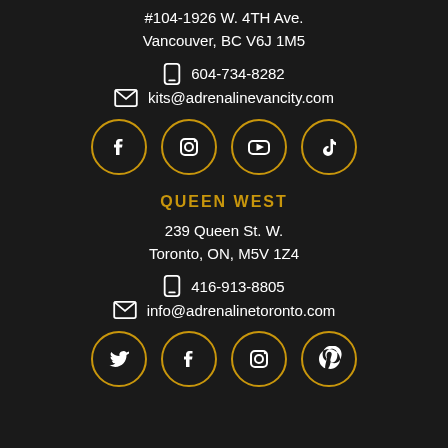#104-1926 W. 4TH Ave.
Vancouver, BC V6J 1M5
604-734-8282
kits@adrenalinevancity.com
[Figure (illustration): Four social media icons in gold-outlined circles: Facebook, Instagram, YouTube, TikTok]
QUEEN WEST
239 Queen St. W.
Toronto, ON, M5V 1Z4
416-913-8805
info@adrenalinetoronto.com
[Figure (illustration): Four social media icons in gold-outlined circles: Twitter, Facebook, Instagram, Pinterest]